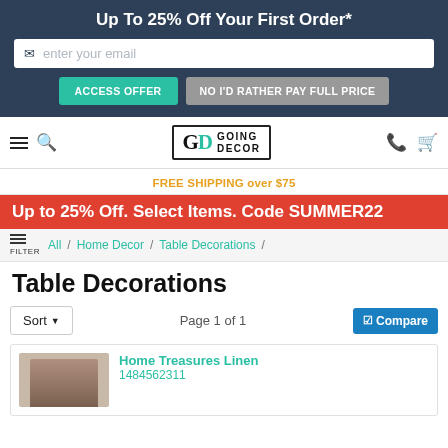Up To 25% Off Your First Order*
enter your email
ACCESS OFFER  NO I'D RATHER PAY FULL PRICE
[Figure (logo): Going Decor logo with GD emblem and text GOING DECOR]
FREE SHIPPING over $75
Up to 25% Off. Select Items. Code SUMMER22
FILTER  All / Home Decor / Table Decorations /
Table Decorations
Sort  Page 1 of 1  Compare
Home Treasures Linen 1484562311